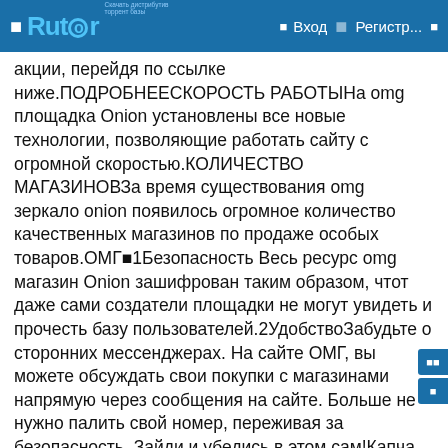Rutor — Вход — Регистр...
акции, перейдя по ссылке ниже.ПОДРОБНЕЕСКОРОСТЬ РАБОТЫНа omg площадка Onion установлены все новые технологии, позволяющие работать сайту с огромной скоростью.КОЛИЧЕСТВО МАГАЗИНОВЗа время существования omg зеркало onion появилось огромное количество качественных магазинов по продаже особых товаров.ОМГ1Безопасность Весь ресурс omg магазин Onion зашифрован таким образом, чтот даже сами создатели площадки не могут увидеть и прочесть базу пользователей.2УдобствоЗабудьте о сторонних мессенджерах. На сайте ОМГ, вы можете обсуждать свои покупки с магазинами напрямую через сообщения на сайте. Больше не нужно палить свой номер, переживая за безопасность. Зайди и убедись в этом сам!Капча при входе на сайт ОМГ онион1Все пользователи при входе на сайт ОМГ онион наблюдают перед собой страницу с капчей. Она давным давно всем надоела, но это вынужденная мера, принятая для того, чтобы снизить нагрузку на сервера и защититься от Ddos-атак, часто производимых на сервера.